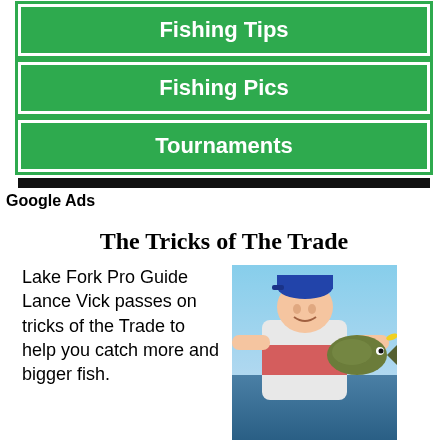Fishing Tips
Fishing Pics
Tournaments
Google Ads
The Tricks of The Trade
Lake Fork Pro Guide Lance Vick passes on tricks of the Trade to help you catch more and bigger fish.
[Figure (photo): Lance Vick holding a large bass fish, wearing a white fishing jersey and blue cap, outdoors]
Using two Lake Fork Mega Weights